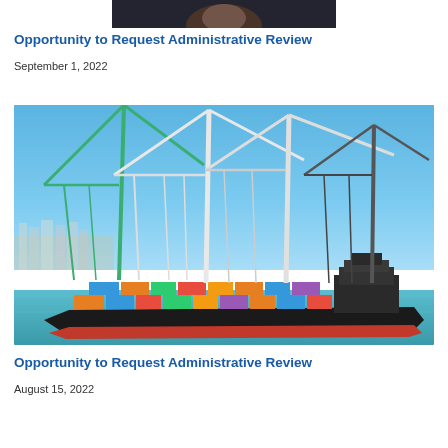[Figure (photo): Partial view of a person/subject photo at top of page (cropped, dark background)]
Opportunity to Request Administrative Review
September 1, 2022
[Figure (photo): Container ship docked at port with large cranes overhead, blue sky and turquoise water visible]
Opportunity to Request Administrative Review
August 15, 2022